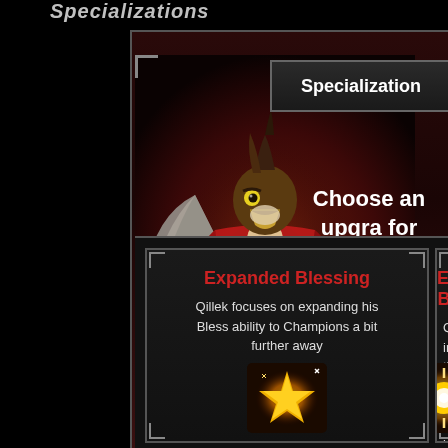Specializations
Specialization
Choose an upgrade for Qillek
[Figure (illustration): Fantasy RPG character - an anthropomorphic bird/eagle creature wearing red cape and orange armor, facing forward with wings visible behind]
Expanded Blessing
Qillek focuses on expanding his Bless ability to Champions a bit further away
[Figure (illustration): Gold star icon on dark background with orange glow effect]
Empowered B...
Qillek increases the his Bless ability based on number of nearby adjacent, Cham...
[Figure (illustration): Radiant sun/star burst icon on dark background with white glow effect]